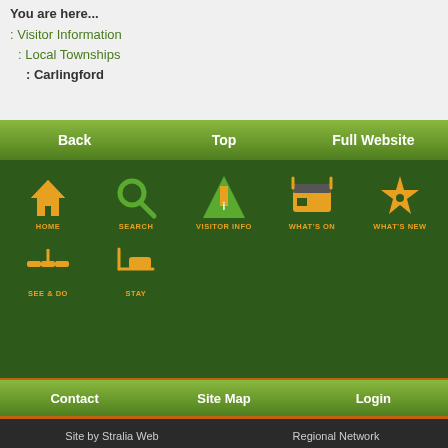You are here...
: Visitor Information
: Local Townships
: Carlingford
Back | Top | Full Website
[Figure (screenshot): Navigation icon grid with icons: HOME, SEARCH, VISITOR INFO, WHAT'S ON, WHAT'S NEW, SEE & DO, STAY on dark green background]
Contact | Site Map | Login
Site by Stralia Web | Regional Network